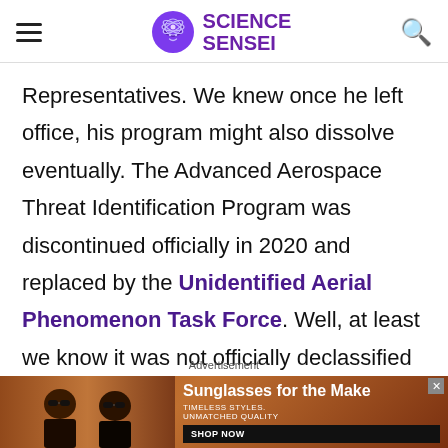Science Sensei
Representatives. We knew once he left office, his program might also dissolve eventually. The Advanced Aerospace Threat Identification Program was discontinued officially in 2020 and replaced by the Unidentified Aerial Phenomenon Task Force. Well, at least we know it was not officially declassified until June 2020. They
Advertisement
[Figure (photo): Advertisement banner showing two women wearing sunglasses with text 'Sunglasses for the Make', 'TIMELESS STYLES. UNMATCHED QUALITY', and a 'SHOP NOW' button]